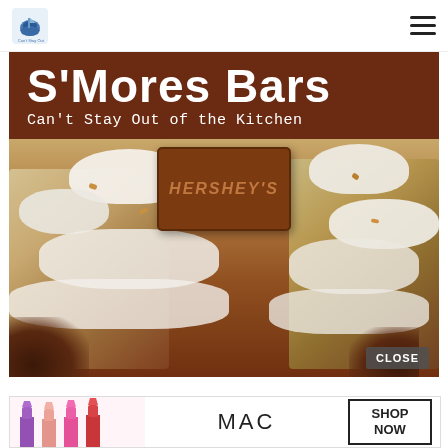Can't Stay Out of the Kitchen
[Figure (photo): S'Mores Bars food photo with Hershey's chocolate bar on top of marshmallow and graham cracker bars, with brown banner title overlay reading 'S'Mores Bars' and subtitle 'Can't Stay Out of the Kitchen'. A CLOSE button appears in the bottom right.]
[Figure (photo): MAC cosmetics advertisement banner showing colorful lipsticks on the left, MAC logo in the center, and a SHOP NOW button on the right.]